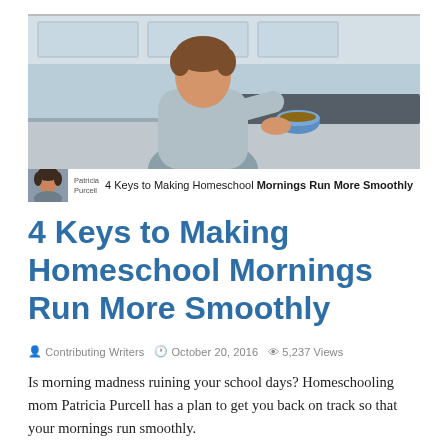[Figure (photo): Hero image showing a child in a gray hoodie reaching for a bowl of food in a kitchen setting, with a caption bar below showing author photo thumbnail, author name 'Patricia Purcell', and article title '4 Keys to Making Homeschool Mornings Run More Smoothly']
4 Keys to Making Homeschool Mornings Run More Smoothly
Contributing Writers  October 20, 2016  5,237 Views
Is morning madness ruining your school days? Homeschooling mom Patricia Purcell has a plan to get you back on track so that your mornings run smoothly.